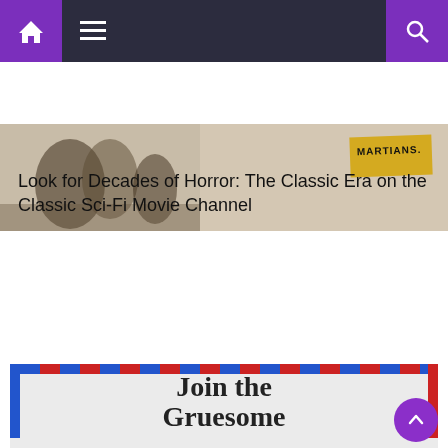[Figure (screenshot): Website navigation bar with purple home icon, menu icon, and purple search icon on dark background]
[Figure (photo): Banner image for horror/sci-fi content with muted tones and a Martians label visible]
Look for Decades of Horror: The Classic Era on the Classic Sci-Fi Movie Channel
GRUESOME NEWSLETTER
[Figure (infographic): Newsletter signup card with airmail border pattern containing 'Join the Gruesome Newsletter' title and subscription description text]